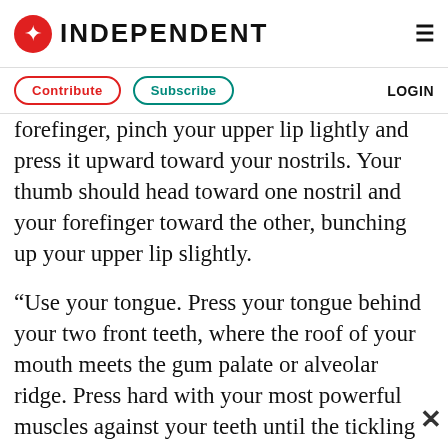INDEPENDENT
Contribute  Subscribe  LOGIN
forefinger, pinch your upper lip lightly and press it upward toward your nostrils. Your thumb should head toward one nostril and your forefinger toward the other, bunching up your upper lip slightly.
“Use your tongue. Press your tongue behind your two front teeth, where the roof of your mouth meets the gum palate or alveolar ridge. Press hard with your most powerful muscles against your teeth until the tickling sensation dissipates.”